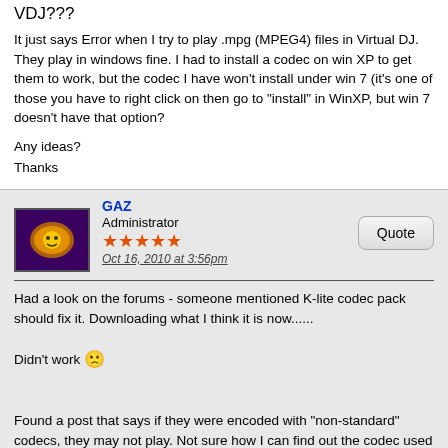VDJ???
It just says Error when I try to play .mpg (MPEG4) files in Virtual DJ. They play in windows fine. I had to install a codec on win XP to get them to work, but the codec I have won't install under win 7 (it's one of those you have to right click on then go to "install" in WinXP, but win 7 doesn't have that option?
Any ideas?
Thanks
GAZ
Administrator
★★★★★
Oct 16, 2010 at 3:56pm
Had a look on the forums - someone mentioned K-lite codec pack should fix it. Downloading what I think it is now......

Didn't work 😟


Found a post that says if they were encoded with "non-standard" codecs, they may not play. Not sure how I can find out the codec used to make them?